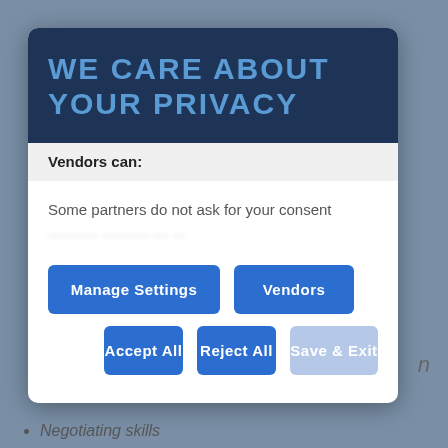WE CARE ABOUT YOUR PRIVACY
Vendors can:
Some partners do not ask for your consent
[Figure (screenshot): Privacy consent modal with buttons: Manage Settings, Vendors, Accept All, Reject All, Save & Exit]
Negotiating skills